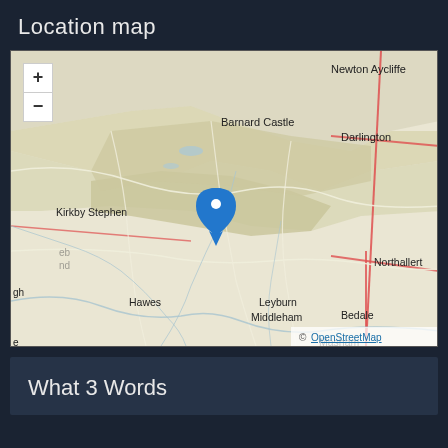Location map
[Figure (map): OpenStreetMap showing a region of North Yorkshire and County Durham, England. Visible place names include Newton Aycliffe, Darlington, Barnard Castle, Kirkby Stephen, Richmond, Catterick Garrison, Northallert (truncated), Hawes, Leyburn, Middleham, Bedale, Masham. A blue location pin marker is placed in the centre of the map in an upland/moorland area. Zoom in (+) and zoom out (-) controls are visible in the top-left. Attribution reads © OpenStreetMap.]
What 3 Words